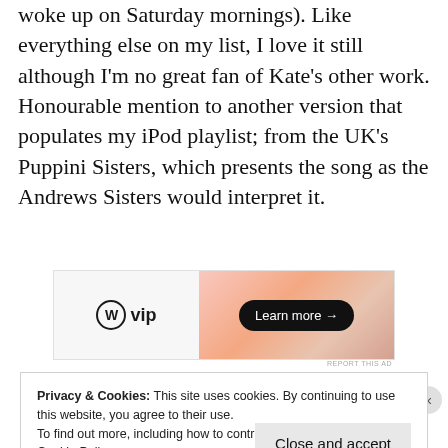woke up on Saturday mornings). Like everything else on my list, I love it still although I'm no great fan of Kate's other work. Honourable mention to another version that populates my iPod playlist; from the UK's Puppini Sisters, which presents the song as the Andrews Sisters would interpret it.
[Figure (other): WordPress VIP advertisement banner with 'Learn more →' button on orange gradient background]
REPORT THIS AD
Privacy & Cookies: This site uses cookies. By continuing to use this website, you agree to their use.
To find out more, including how to control cookies, see here:
Cookie Policy
Close and accept